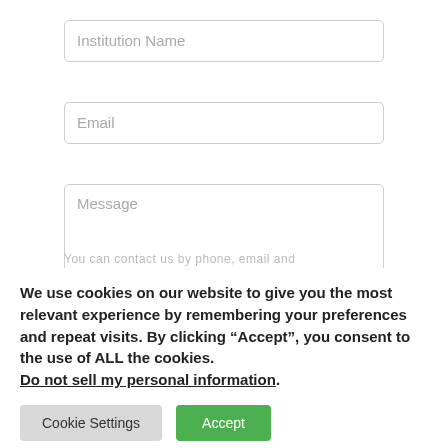Institution Name
Email
Message
You can contact us by phone, email and
We use cookies on our website to give you the most relevant experience by remembering your preferences and repeat visits. By clicking “Accept”, you consent to the use of ALL the cookies. Do not sell my personal information.
Cookie Settings
Accept